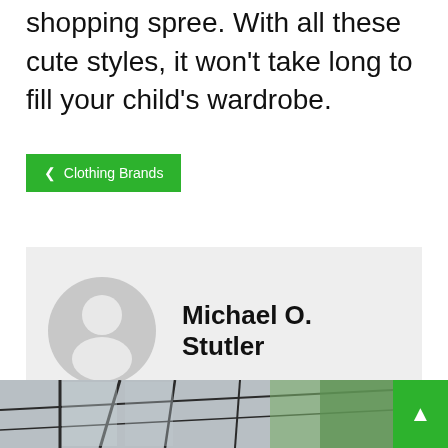shopping spree. With all these cute styles, it won't take long to fill your child's wardrobe.
❮ Clothing Brands
[Figure (illustration): Author avatar placeholder: grey circle with white silhouette person icon]
Michael O. Stutler
❮ Prev
Next ❯
[Figure (photo): Bottom strip photo showing architectural interior with black metal frame windows and green foliage/trees visible through glass]
▲